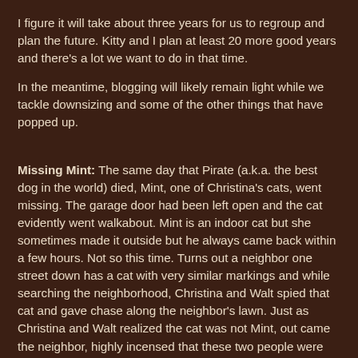I figure it will take about three years for us to regroup and plan the future.  Kitty and I plan at least 20 more good years and there's a lot we want to do in that time.
In the meantime, blogging will likely remain light while we tackle downsizing and some of the other things that have popped up.
Missing Mint:   The same day that Pirate (a.k.a. the best dog in the world) died, Mint, one of Christina's cats, went missing.  The garage door had been left open and the cat evidently went walkabout.  Mint is an indoor cat but she sometimes made it outside but he always came back within a few hours.  Not so this time.  Turns out a neighbor one street down has a cat with very similar markings and while searching the neighborhood, Christina and Walt spied that cat and gave chase along the neighbor's lawn.   Just as Christina and Walt realized the cat was not Mint, out came the neighbor, highly incensed that these two people were trying to steal his cat.  Apologies and explanations were...